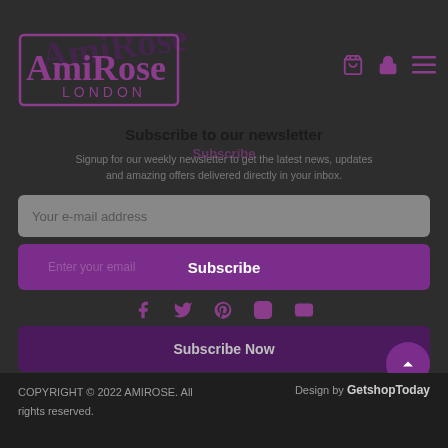[Figure (logo): AmiRose London logo — stylized text in purple with a rectangular border, tilted slightly]
[Figure (infographic): Navigation icons: shopping cart, lock/account, hamburger menu — all in purple]
Subscribe to our newsletter
Signup for our weekly newsletter to get the latest news, updates and amazing offers delivered directly in your inbox.
Subscribe (overlay watermark)
[Figure (infographic): Email input field with placeholder text 'Your e-mail address' on grey background]
[Figure (infographic): Purple button row with 'Enter your email' faded text on left and 'Subscribe' in white on right]
[Figure (infographic): Social media icons row: Facebook, Twitter, Pinterest, Instagram, YouTube — all in purple]
[Figure (infographic): Dark purple 'Subscribe Now' bar]
COPYRIGHT © 2022 AMIROSE. All rights reserved.   Design by GetshopToday